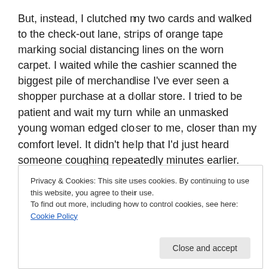But, instead, I clutched my two cards and walked to the check-out lane, strips of orange tape marking social distancing lines on the worn carpet. I waited while the cashier scanned the biggest pile of merchandise I've ever seen a shopper purchase at a dollar store. I tried to be patient and wait my turn while an unmasked young woman edged closer to me, closer than my comfort level. It didn't help that I'd just heard someone coughing repeatedly minutes earlier.
[Figure (photo): Row of four circular avatar profile photos partially visible, showing faces of people.]
Privacy & Cookies: This site uses cookies. By continuing to use this website, you agree to their use.
To find out more, including how to control cookies, see here: Cookie Policy